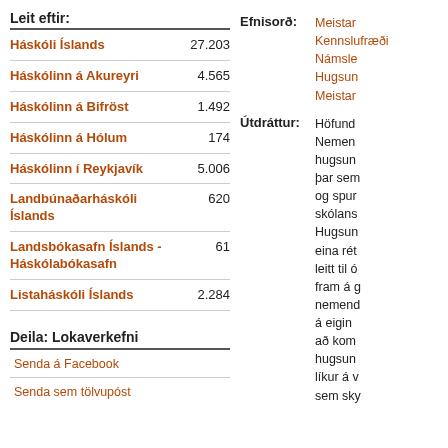Leit eftir:
Háskóli Íslands 27.203
Háskólinn á Akureyri 4.565
Háskólinn á Bifröst 1.492
Háskólinn á Hólum 174
Háskólinn í Reykjavík 5.006
Landbúnaðarháskóli Íslands 620
Landsbókasafn Íslands - Háskólabókasafn 61
Listaháskóli Íslands 2.284
Deila: Lokaverkefni
Senda á Facebook
Senda sem tölvupóst
Efnisorð: Meistar... Kennslufræði... Námsle... Hugsun... Meistar...
Útdráttur: Höfundur... Nemend... hugsun... þar sem... og spur... skólans... Hugsun... eina rét... leitt til ó... fram á g... nemend... á eigin ... að kom... hugsun... líkur á v... sem sky...